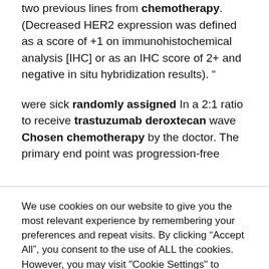two previous lines from chemotherapy. (Decreased HER2 expression was defined as a score of +1 on immunohistochemical analysis [IHC] or as an IHC score of 2+ and negative in situ hybridization results). “
were sick randomly assigned In a 2:1 ratio to receive trastuzumab deroxtecan wave Chosen chemotherapy by the doctor. The primary end point was progression-free
We use cookies on our website to give you the most relevant experience by remembering your preferences and repeat visits. By clicking “Accept All”, you consent to the use of ALL the cookies. However, you may visit "Cookie Settings" to provide a controlled consent.